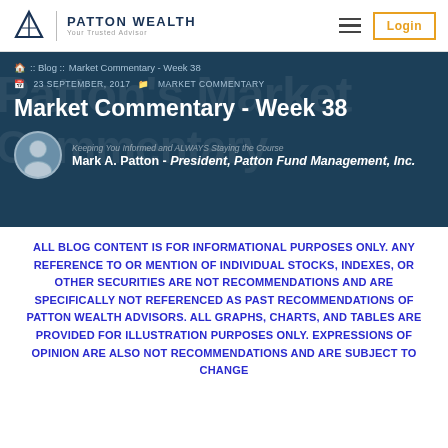PATTON WEALTH — Your Trusted Advisor
Blog :: Market Commentary - Week 38
23 SEPTEMBER, 2017  MARKET COMMENTARY
Market Commentary - Week 38
Mark A. Patton - President, Patton Fund Management, Inc.
ALL BLOG CONTENT IS FOR INFORMATIONAL PURPOSES ONLY. ANY REFERENCE TO OR MENTION OF INDIVIDUAL STOCKS, INDEXES, OR OTHER SECURITIES ARE NOT RECOMMENDATIONS AND ARE SPECIFICALLY NOT REFERENCED AS PAST RECOMMENDATIONS OF PATTON WEALTH ADVISORS. ALL GRAPHS, CHARTS, AND TABLES ARE PROVIDED FOR ILLUSTRATION PURPOSES ONLY. EXPRESSIONS OF OPINION ARE ALSO NOT RECOMMENDATIONS AND ARE SUBJECT TO CHANGE